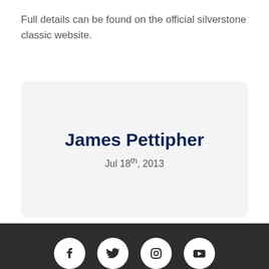Full details can be found on the official silverstone classic website.
James Pettipher
Jul 18th, 2013
Social media icons: Facebook, Twitter, Instagram, YouTube